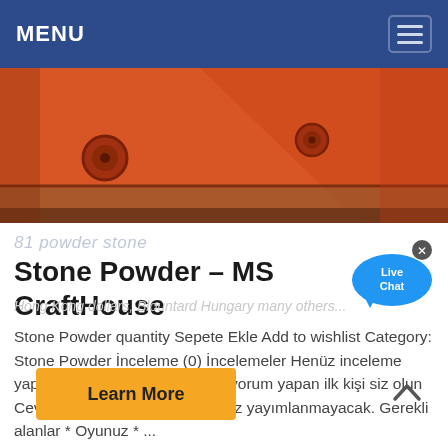MENU
[Figure (photo): Close-up of orange industrial machinery or equipment, showing metal surfaces with bolts and attachment points.]
81 powder stone
Stone Powder – MS CraftHouse
Hong Kong dollars, Blountard Hungary many others...
Stone Powder quantity Sepete Ekle Add to wishlist Category: Stone Powder İnceleme (0) İncelemeler Henüz inceleme yapılmadı. "Stone Powder" için yorum yapan ilk kişi siz olun Cevabı iptal et E-posta hesabınız yayımlanmayacak. Gerekli alanlar * Oyunuz * ...
Learn More